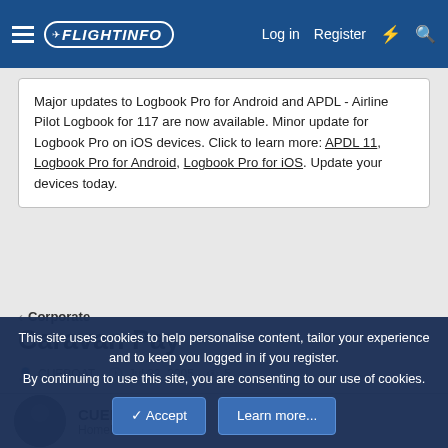FlightInfo — Log in | Register
Major updates to Logbook Pro for Android and APDL - Airline Pilot Logbook for 117 are now available. Minor update for Logbook Pro on iOS devices. Click to learn more: APDL 11, Logbook Pro for Android, Logbook Pro for iOS. Update your devices today.
< Corporate
Caravan Pay
CUEBOAT · Jul 22, 2005 · 5
CUEBOAT
HomeBaseBKLYN
This site uses cookies to help personalise content, tailor your experience and to keep you logged in if you register.
By continuing to use this site, you are consenting to our use of cookies.